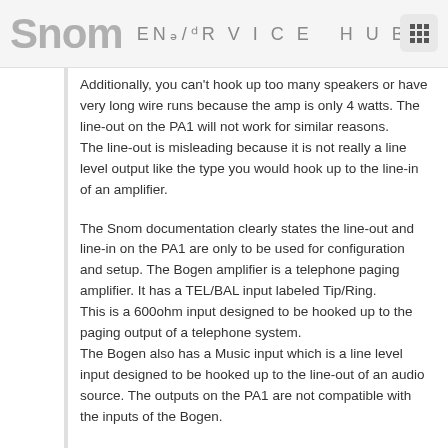Snom ENS/DR VICE HUB
Additionally, you can't hook up too many speakers or have very long wire runs because the amp is only 4 watts. The line-out on the PA1 will not work for similar reasons.
The line-out is misleading because it is not really a line level output like the type you would hook up to the line-in of an amplifier.
The Snom documentation clearly states the line-out and line-in on the PA1 are only to be used for configuration and setup. The Bogen amplifier is a telephone paging amplifier. It has a TEL/BAL input labeled Tip/Ring.
This is a 600ohm input designed to be hooked up to the paging output of a telephone system.
The Bogen also has a Music input which is a line level input designed to be hooked up to the line-out of an audio source. The outputs on the PA1 are not compatible with the inputs of the Bogen.